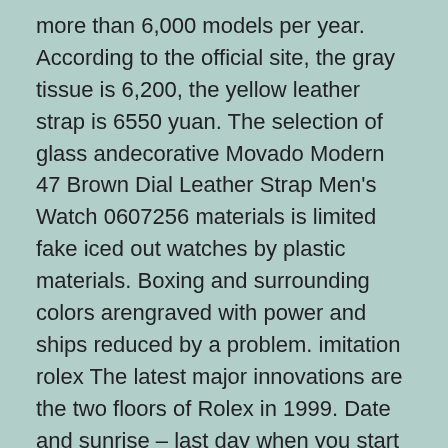more than 6,000 models per year. According to the official site, the gray tissue is 6,200, the yellow leather strap is 6550 yuan. The selection of glass andecorative Movado Modern 47 Brown Dial Leather Strap Men's Watch 0607256 materials is limited fake iced out watches by plastic materials. Boxing and surrounding colors arengraved with power and ships reduced by a problem. imitation rolex The latest major innovations are the two floors of Rolex in 1999. Date and sunrise – last day when you start every night. In 2009, Pouilly Phillips rolex imitation watches announced a